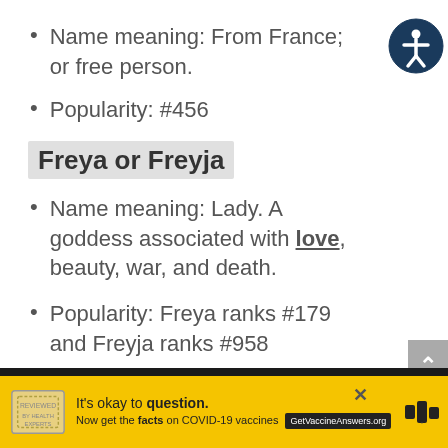Name meaning: From France; or free person.
Popularity: #456
Freya or Freyja
Name meaning: Lady. A goddess associated with love, beauty, war, and death.
Popularity: Freya ranks #179 and Freyja ranks #958
[Figure (other): Yellow COVID-19 vaccine advertisement banner: 'It's okay to question. Now get the facts on COVID-19 vaccines GetVaccineAnswers.org']